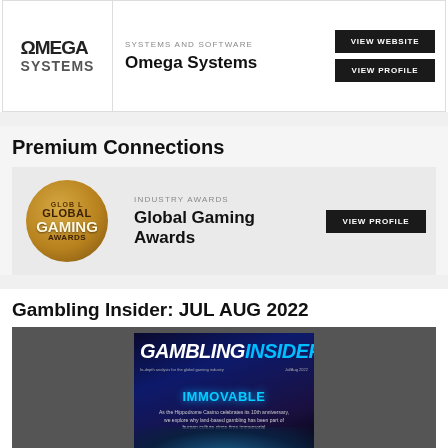[Figure (logo): Omega Systems logo with Omega symbol]
SYSTEMS AND SOFTWARE
Omega Systems
VIEW WEBSITE
VIEW PROFILE
Premium Connections
[Figure (logo): Global Gaming Awards gold coin logo]
INDUSTRY AWARDS
Global Gaming Awards
VIEW PROFILE
Gambling Insider: JUL AUG 2022
[Figure (illustration): Gambling Insider magazine cover for Jul/Aug 2022 featuring IMMOVABLE headline about Hippodrome Casino 10th anniversary]